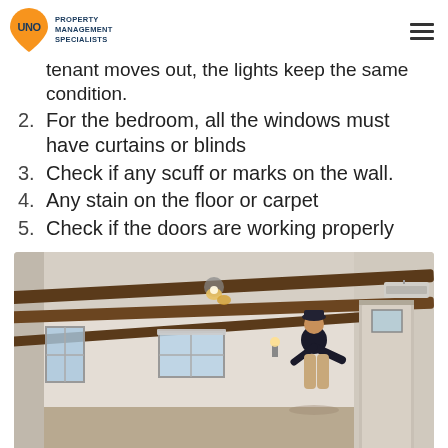UNO PROPERTY MANAGEMENT SPECIALISTS
tenant moves out, the lights keep the same condition.
2. For the bedroom, all the windows must have curtains or blinds
3. Check if any scuff or marks on the wall.
4. Any stain on the floor or carpet
5. Check if the doors are working properly
[Figure (photo): Person standing in an empty white room with exposed dark wood ceiling beams, a light fixture, windows with blinds, a wall sconce, and a doorway visible on the right side.]